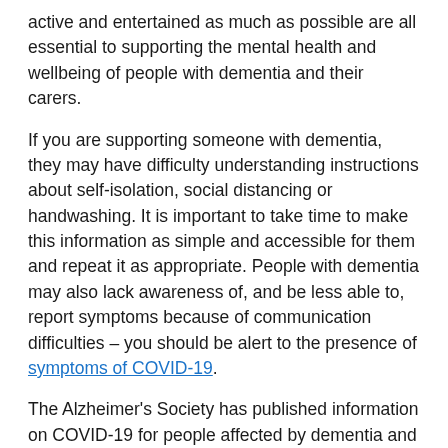active and entertained as much as possible are all essential to supporting the mental health and wellbeing of people with dementia and their carers.
If you are supporting someone with dementia, they may have difficulty understanding instructions about self-isolation, social distancing or handwashing. It is important to take time to make this information as simple and accessible for them and repeat it as appropriate. People with dementia may also lack awareness of, and be less able to, report symptoms because of communication difficulties – you should be alert to the presence of symptoms of COVID-19.
The Alzheimer's Society has published information on COVID-19 for people affected by dementia and provides a telephone support line on 0333 150 3456 (call charges may apply). If you'd like to connect and talk with other people affected by dementia, visit the Alzheimer's Society online community Talking Point.
Information on dementia is available from Alzheimer's Research UK. You can also speak to a dementia specialist Admiral Nurse on Dementia UK's Helpline or 0800 888